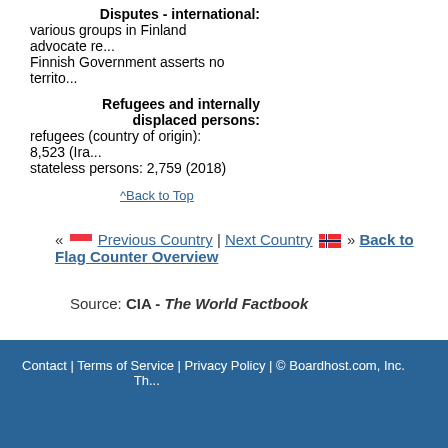Disputes - international: various groups in Finland advocate re... Finnish Government asserts no territo...
Refugees and internally displaced persons: refugees (country of origin): 8,523 (Ira... stateless persons: 2,759 (2018)
^Back to Top
« Previous Country | Next Country » Back to Flag Counter Overview
Source: CIA - The World Factbook
Contact | Terms of Service | Privacy Policy | © Boardhost.com, Inc.  Th...